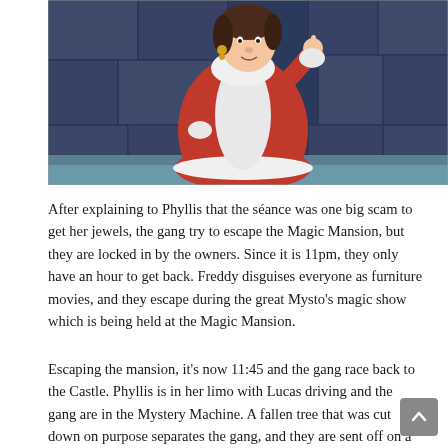[Figure (illustration): Animated cartoon screenshot showing a large woman in a red robe with white fur trim and collar, standing in front of dark stone castle walls. The character appears to be from a classic animated show, holding something in her hand.]
After explaining to Phyllis that the séance was one big scam to get her jewels, the gang try to escape the Magic Mansion, but they are locked in by the owners. Since it is 11pm, they only have an hour to get back. Freddy disguises everyone as furniture movies, and they escape during the great Mysto's magic show which is being held at the Magic Mansion.
Escaping the mansion, it's now 11:45 and the gang race back to the Castle. Phyllis is in her limo with Lucas driving and the gang are in the Mystery Machine. A fallen tree that was cut down on purpose separates the gang, and they are sent off on a detour